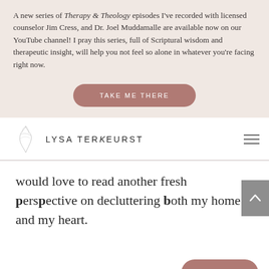A new series of Therapy & Theology episodes I've recorded with licensed counselor Jim Cress, and Dr. Joel Muddamalle are available now on our YouTube channel! I pray this series, full of Scriptural wisdom and therapeutic insight, will help you not feel so alone in whatever you're facing right now.
[Figure (other): Button with text TAKE ME THERE in rounded rectangle, dusty rose/mauve color]
[Figure (logo): Lysa TerKeurst logo with leaf botanical illustration and text LYSA TERKEURST]
would love to read another fresh perspective on decluttering both my home and my heart.
[Figure (other): Grey scroll-to-top button with upward chevron arrow]
[Figure (other): REPLY button in rounded rectangle, dusty rose/mauve color]